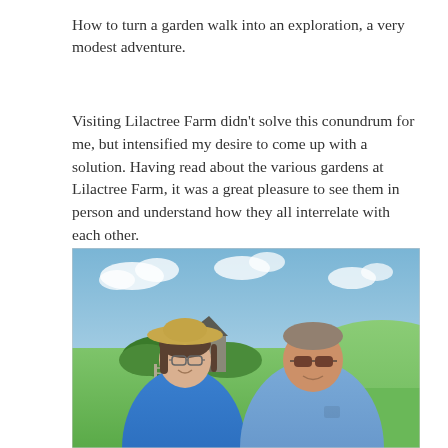How to turn a garden walk into an exploration, a very modest adventure.
Visiting Lilactree Farm didn’t solve this conundrum for me, but intensified my desire to come up with a solution. Having read about the various gardens at Lilactree Farm, it was a great pleasure to see them in person and understand how they all interrelate with each other.
[Figure (photo): Outdoor photograph of two people (a woman wearing a wide-brim straw hat and blue top, and a man in a blue shirt with sunglasses) standing in front of a green field with a wooden barn and trees in the background under a partly cloudy sky.]